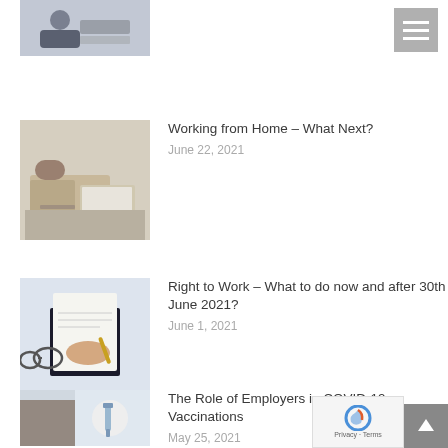[Figure (photo): Partial view of a person at a desk, top of page, cropped]
[Figure (other): Hamburger menu icon button (gray background, three white lines)]
[Figure (photo): Person working from home at a desk with laptop]
Working from Home – What Next?
June 22, 2021
[Figure (photo): Hand signing a document with a pen, glasses visible]
Right to Work – What to do now and after 30th June 2021?
June 1, 2021
[Figure (photo): Close-up of a vaccination being administered, COVID-19 context]
The Role of Employers in COVID-19 Vaccinations
May 25, 2021
[Figure (photo): Digital data visualization, green, partial view]
Personal data management after Bre…
January 25, 2021